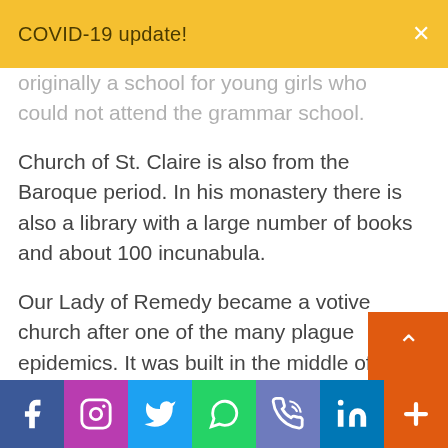COVID-19 update!
originally a school for young girls who could not attend the grammar school.
Church of St. Claire is also from the Baroque period. In his monastery there is also a library with a large number of books and about 100 incunabula.
Our Lady of Remedy became a votive church after one of the many plague epidemics. It was built in the middle of the ascent to the hill of St. John, below the Small Fortress, and it can only be reached by a staircase with 5 votive chapels.
Social media links: Facebook, Instagram, Twitter, WhatsApp, Phone, LinkedIn, More